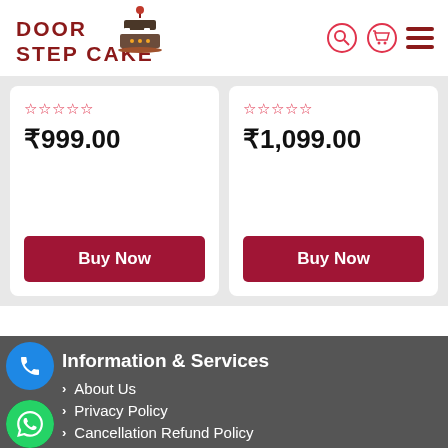[Figure (logo): Door Step Cake logo with cake icon]
★★★★★
₹999.00
Buy Now
★★★★★
₹1,099.00
Buy Now
Information & Services
About Us
Privacy Policy
Cancellation Refund Policy
Contact Us
Blog